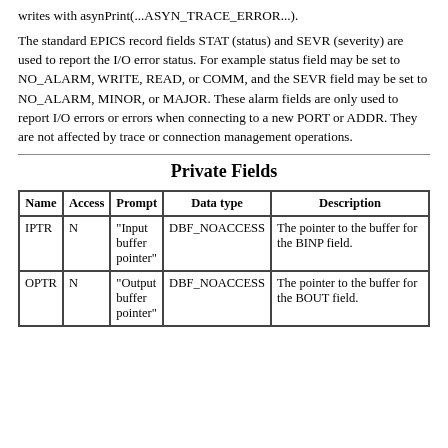writes with asynPrint(...ASYN_TRACE_ERROR...).
The standard EPICS record fields STAT (status) and SEVR (severity) are used to report the I/O error status. For example status field may be set to NO_ALARM, WRITE, READ, or COMM, and the SEVR field may be set to NO_ALARM, MINOR, or MAJOR. These alarm fields are only used to report I/O errors or errors when connecting to a new PORT or ADDR. They are not affected by trace or connection management operations.
Private Fields
| Name | Access | Prompt | Data type | Description |
| --- | --- | --- | --- | --- |
| IPTR | N | "Input buffer pointer" | DBF_NOACCESS | The pointer to the buffer for the BINP field. |
| OPTR | N | "Output buffer pointer" | DBF_NOACCESS | The pointer to the buffer for the BOUT field. |